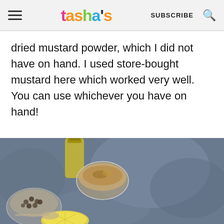tasha's | SUBSCRIBE
dried mustard powder, which I did not have on hand. I used store-bought mustard here which worked very well. You can use whichever you have on hand!
[Figure (photo): Photo of spices and ingredients in small glass bowls on a dark gray stone surface, including peppercorns, dried spices, a jar of olive oil, and lemon slices.]